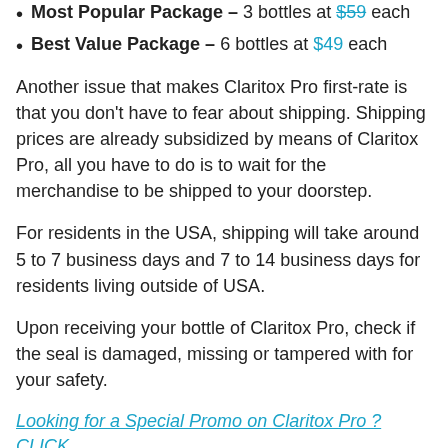Most Popular Package – 3 bottles at $59 each
Best Value Package – 6 bottles at $49 each
Another issue that makes Claritox Pro first-rate is that you don't have to fear about shipping. Shipping prices are already subsidized by means of Claritox Pro, all you have to do is to wait for the merchandise to be shipped to your doorstep.
For residents in the USA, shipping will take around 5 to 7 business days and 7 to 14 business days for residents living outside of USA.
Upon receiving your bottle of Claritox Pro, check if the seal is damaged, missing or tampered with for your safety.
Looking for a Special Promo on Claritox Pro ? CLICK